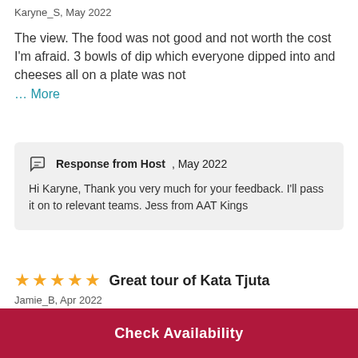Karyne_S, May 2022
The view. The food was not good and not worth the cost I'm afraid. 3 bowls of dip which everyone dipped into and cheeses all on a plate was not … More
Response from Host, May 2022
Hi Karyne, Thank you very much for your feedback. I'll pass it on to relevant teams. Jess from AAT Kings
Great tour of Kata Tjuta
Jamie_B, Apr 2022
Check Availability